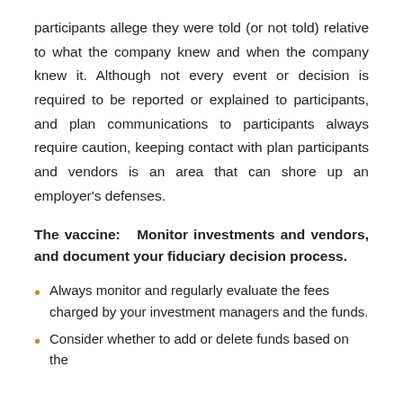participants allege they were told (or not told) relative to what the company knew and when the company knew it. Although not every event or decision is required to be reported or explained to participants, and plan communications to participants always require caution, keeping contact with plan participants and vendors is an area that can shore up an employer's defenses.
The vaccine: Monitor investments and vendors, and document your fiduciary decision process.
Always monitor and regularly evaluate the fees charged by your investment managers and the funds.
Consider whether to add or delete funds based on the